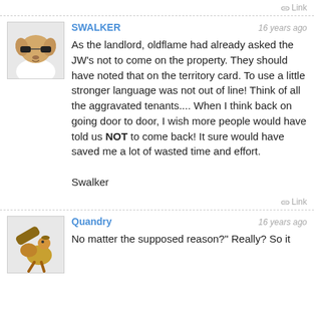Link
SWALKER — 16 years ago
As the landlord, oldflame had already asked the JW's not to come on the property. They should have noted that on the territory card. To use a little stronger language was not out of line! Think of all the aggravated tenants.... When I think back on going door to door, I wish more people would have told us NOT to come back! It sure would have saved me a lot of wasted time and effort.

Swalker
Link
Quandry — 16 years ago
No matter the supposed reason?" Really? So it